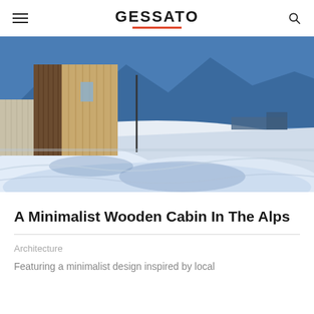GESSATO
[Figure (photo): Exterior view of a minimalist wooden cabin in the Alps, surrounded by deep snow. The building features vertical wood slat cladding. Mountains and blue sky visible in background.]
A Minimalist Wooden Cabin In The Alps
Architecture
Featuring a minimalist design inspired by local